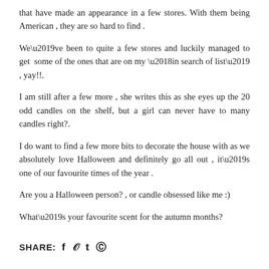that have made an appearance in a few stores. With them being American , they are so hard to find .
We’ve been to quite a few stores and luckily managed to get  some of the ones that are on my ‘in search of list’ , yay!!.
I am still after a few more , she writes this as she eyes up the 20 odd candles on the shelf, but a girl can never have to many candles right?.
I do want to find a few more bits to decorate the house with as we absolutely love Halloween and definitely go all out , it’s one of our favourite times of the year .
Are you a Halloween person? , or candle obsessed like me :)
What’s your favourite scent for the autumn months?
SHARE: f y t Ⓟ